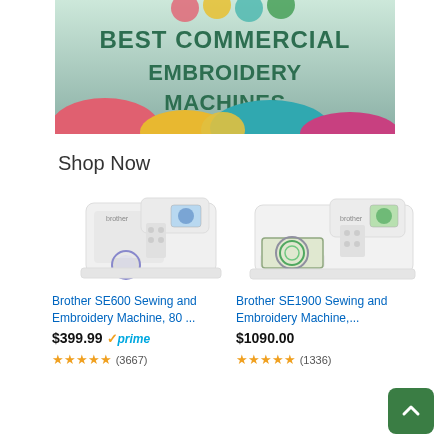[Figure (illustration): Banner image showing colorful felt craft shapes (pink, teal, yellow) at bottom, with text 'BEST COMMERCIAL EMBROIDERY MACHINES' in dark green bold letters on a gradient background]
Shop Now
[Figure (photo): Brother SE600 Sewing and Embroidery Machine product photo - white machine with embroidery hoop attachment]
Brother SE600 Sewing and Embroidery Machine, 80 ...
$399.99 ✓prime
★★★★★ (3667)
[Figure (photo): Brother SE1900 Sewing and Embroidery Machine product photo - white machine with green embroidery design and color display]
Brother SE1900 Sewing and Embroidery Machine,...
$1090.00
★★★★★ (1336)